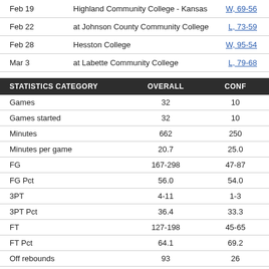| Date | Opponent | Result |
| --- | --- | --- |
| Feb 19 | Highland Community College - Kansas | W, 69-56 |
| Feb 22 | at Johnson County Community College | L, 73-59 |
| Feb 28 | Hesston College | W, 95-54 |
| Mar 3 | at Labette Community College | L, 79-68 |
| STATISTICS CATEGORY | OVERALL | CONF |
| --- | --- | --- |
| Games | 32 | 10 |
| Games started | 32 | 10 |
| Minutes | 662 | 250 |
| Minutes per game | 20.7 | 25.0 |
| FG | 167-298 | 47-87 |
| FG Pct | 56.0 | 54.0 |
| 3PT | 4-11 | 1-3 |
| 3PT Pct | 36.4 | 33.3 |
| FT | 127-198 | 45-65 |
| FT Pct | 64.1 | 69.2 |
| Off rebounds | 93 | 26 |
| Def rebounds | 138 | 36 |
| Total rebounds | 231 | 62 |
| Rebounds per game | 7.2 | 6.2 |